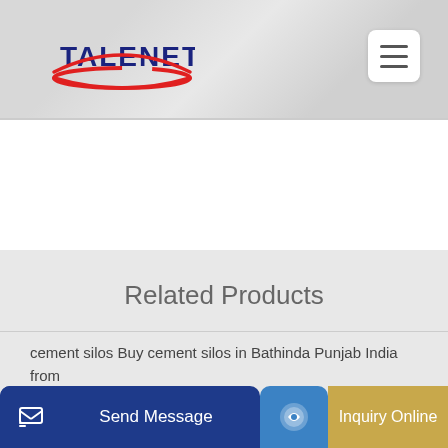[Figure (logo): Talenet company logo with red swoosh arc and bold blue TALENET text]
[Figure (other): Hamburger menu button (three horizontal lines) in white rounded square]
Related Products
cement silos Buy cement silos in Bathinda Punjab India from
90m3 precast concrete batching plant for sale in indonesia
TE PU